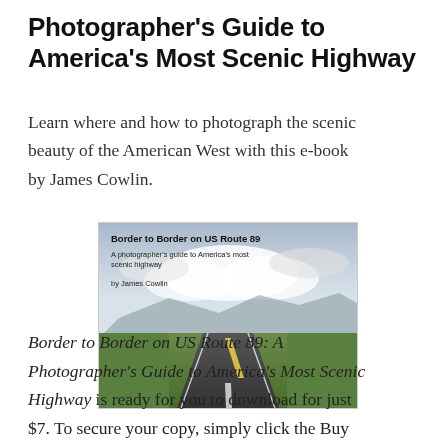Photographer's Guide to America's Most Scenic Highway
Learn where and how to photograph the scenic beauty of the American West with this e-book by James Cowlin.
[Figure (photo): Book cover of 'Border to Border on US Route 89: A photographer's guide to America's most scenic highway by James Cowlin' showing a long straight highway stretching into the horizon with green fields on both sides and a cloudy sky]
Border to Border on US Route 89: A Photographer's Guide to America's Most Scenic Highway is ready for you to download for just $7. To secure your copy, simply click the Buy Now button below. You'll be taken to a page